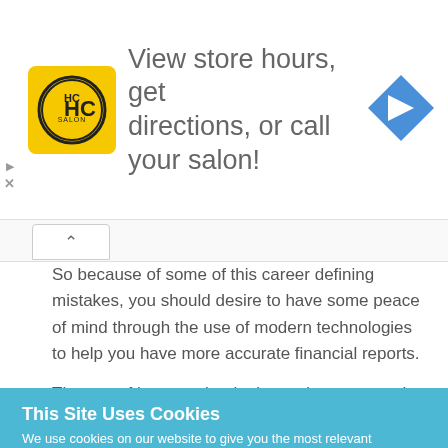[Figure (logo): HC salon logo in yellow square with black circular text, navigation arrow icon on right, ad banner: View store hours, get directions, or call your salon!]
So because of some of this career defining mistakes, you should desire to have some peace of mind through the use of modern technologies to help you have more accurate financial reports.
The use of latest technologies makes your work a lot easier than you can imagine.
This Site Uses Cookies
We use cookies on our website to give you the most relevant experience by remembering your preferences and repeat visits. By clicking “Accept”, you consent to the use of ALL the cookies.
Cookie settings   ACCEPT